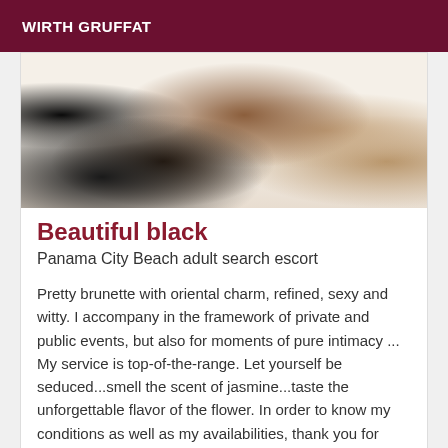WIRTH GRUFFAT
[Figure (photo): Partial photo of a woman in black lace lingerie and high heels on a white bed]
Beautiful black
Panama City Beach adult search escort
Pretty brunette with oriental charm, refined, sexy and witty. I accompany in the framework of private and public events, but also for moments of pure intimacy ... My service is top-of-the-range. Let yourself be seduced...smell the scent of jasmine...taste the unforgettable flavor of the flower. In order to know my conditions as well as my availabilities, thank you for kindly sending me a call. See you soon
Verified